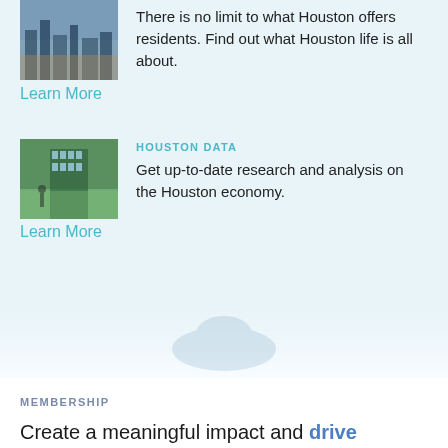[Figure (photo): Aerial/cityscape photo of Houston downtown area showing buildings]
There is no limit to what Houston offers residents. Find out what Houston life is all about.
Learn More
[Figure (photo): Photo of a modern building with green lawn and person walking]
HOUSTON DATA
Get up-to-date research and analysis on the Houston economy.
Learn More
MEMBERSHIP
Create a meaningful impact and drive change in Houston. Take the next step to learn about our membership